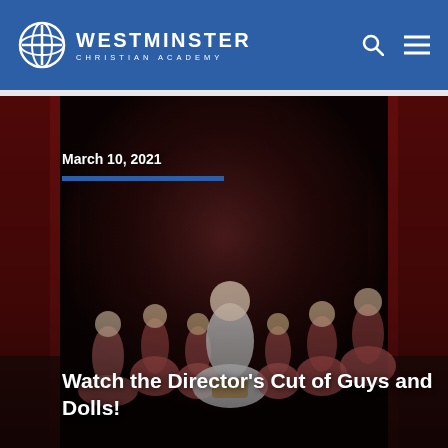Westminster Christian Academy
[Figure (photo): Stage performance photo of students in costume performing Guys and Dolls musical. Students wear pink/red dresses and wigs. A central performer in a white and red checkered outfit holds a basket. Red curtains in background.]
March 10, 2021
Watch the Director's Cut of Guys and Dolls!